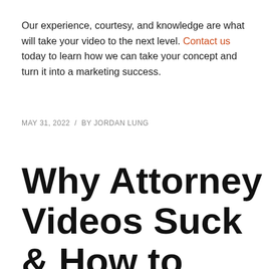Our experience, courtesy, and knowledge are what will take your video to the next level. Contact us today to learn how we can take your concept and turn it into a marketing success.
MAY 31, 2022  /  BY JORDAN LUNG
Why Attorney Videos Suck & How to Make Them Better